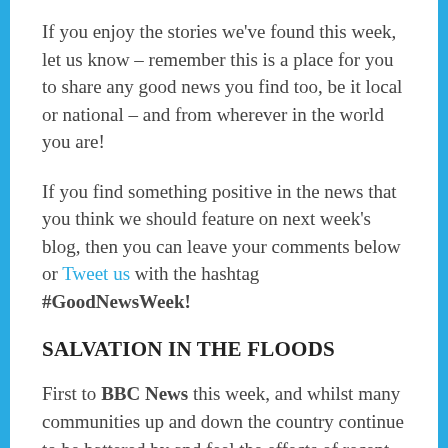If you enjoy the stories we've found this week, let us know – remember this is a place for you to share any good news you find too, be it local or national – and from wherever in the world you are!
If you find something positive in the news that you think we should feature on next week's blog, then you can leave your comments below or Tweet us with the hashtag #GoodNewsWeek!
SALVATION IN THE FLOODS
First to BBC News this week, and whilst many communities up and down the country continue to be battered by and feel the effects of recent storms